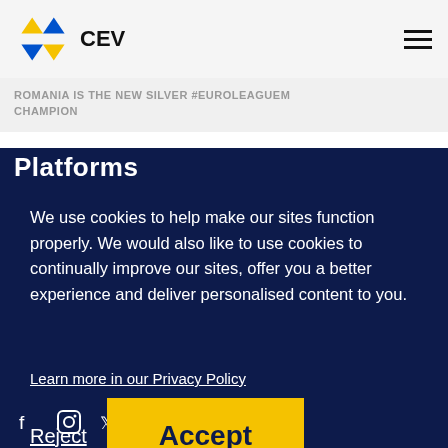CEV
ROMANIA IS THE NEW SILVER #EUROLEAGUEM CHAMPION
Platforms
We use cookies to help make our sites function properly. We would also like to use cookies to continually improve our sites, offer you a better experience and deliver personalised content to you.
Learn more in our Privacy Policy
Reject
Accept